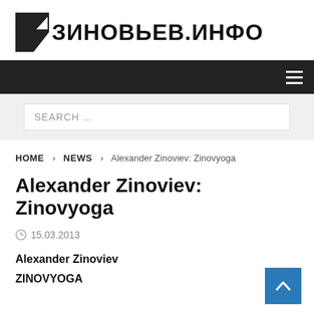ЗИНОВЬЕВ.ИНФО
SEARCH …
HOME > NEWS > Alexander Zinoviev: Zinovyoga
Alexander Zinoviev: Zinovyoga
15.03.2013
Alexander Zinoviev
ZINOVYOGA